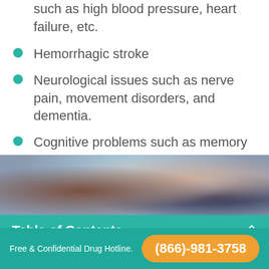such as high blood pressure, heart failure, etc.
Hemorrhagic stroke
Neurological issues such as nerve pain, movement disorders, and dementia.
Cognitive problems such as memory issues, attention problems, decrease in problem-solving skills, etc.
[Figure (photo): Blurred photo of a person with a glass or liquid, shown twice — once at top and once partially at bottom of the image block.]
Table of Contents
Free & Confidential Drug Hotline.
(866)-981-3758